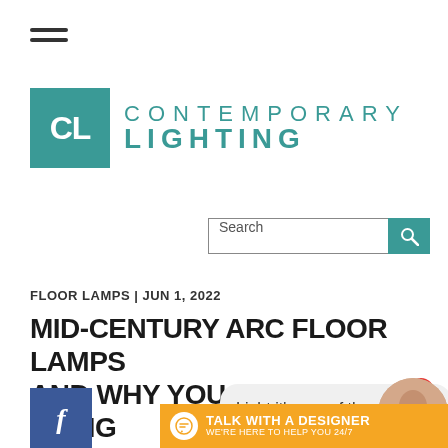[Figure (logo): Hamburger menu icon with two horizontal lines]
[Figure (logo): Contemporary Lighting logo: teal square with CL letters, beside CONTEMPORARY LIGHTING text in teal]
Search
FLOOR LAMPS | JUN 1, 2022
MID-CENTURY ARC FLOOR LAMPS AND WHY YOU SHOULD BE USING
[Figure (logo): Facebook share button (blue square with f)]
[Figure (logo): Twitter share button (blue square with bird icon)]
Light it's one of the most impo
[Figure (other): Talk with a designer chat bar with orange background, chat icon, person photo, and notification badge showing 1]